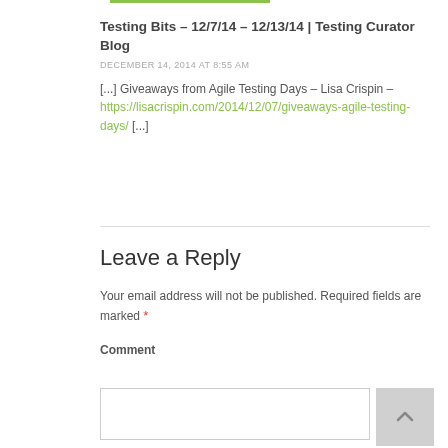Testing Bits – 12/7/14 – 12/13/14 | Testing Curator Blog
DECEMBER 14, 2014 AT 8:55 AM
[...] Giveaways from Agile Testing Days – Lisa Crispin – https://lisacrispin.com/2014/12/07/giveaways-agile-testing-days/ [...]
Leave a Reply
Your email address will not be published. Required fields are marked *
Comment